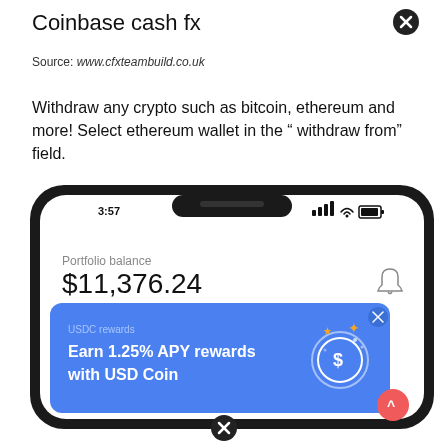Coinbase cash fx
Source: www.cfxteambuild.co.uk
Withdraw any crypto such as bitcoin, ethereum and more! Select ethereum wallet in the “ withdraw from” field.
[Figure (screenshot): Screenshot of Coinbase mobile app showing portfolio balance of $11,376.24 and a USDC rewards banner: Earn 1.25% APY rewards with USD Coin]